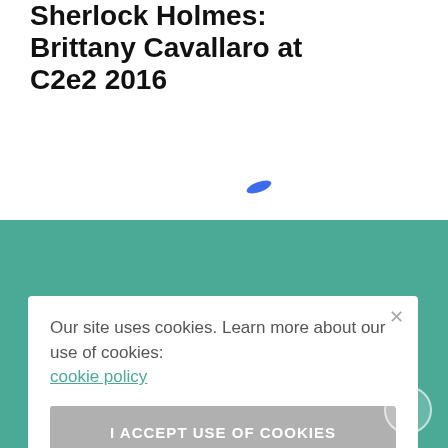Sherlock Holmes: Brittany Cavallaro at C2e2 2016
[Figure (illustration): Small blue pencil/pen icon]
[Figure (logo): Chicago Review of Books logo - black square with owl illustration and text CHICAGO REVIEW of BOOKS]
Our site uses cookies. Learn more about our use of cookies: cookie policy
I ACCEPT USE OF COOKIES